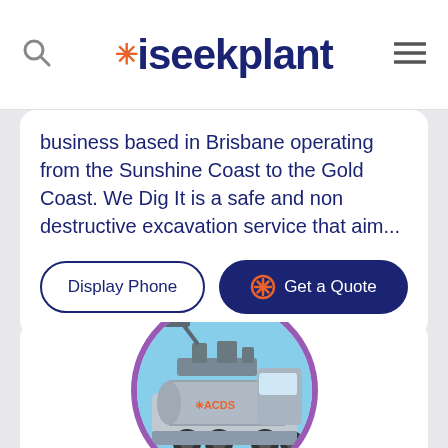iseekplant
business based in Brisbane operating from the Sunshine Coast to the Gold Coast. We Dig It is a safe and non destructive excavation service that aim...
Display Phone
Get a Quote
[Figure (photo): A vacuum/suction truck with industrial equipment on top, shown inside a purple circular frame. The truck appears to be a large tanker-type vehicle used for excavation services.]